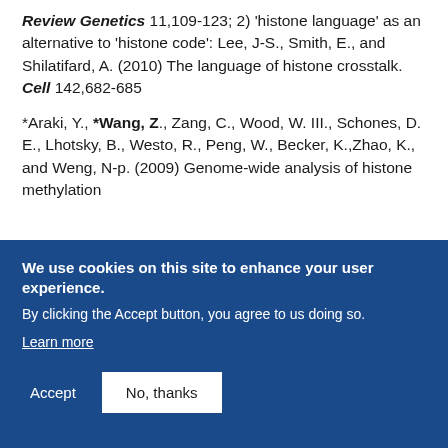Review Genetics 11,109-123; 2) 'histone language' as an alternative to 'histone code': Lee, J-S., Smith, E., and Shilatifard, A. (2010) The language of histone crosstalk. Cell 142,682-685
*Araki, Y., *Wang, Z., Zang, C., Wood, W. III., Schones, D. E., Lhotsky, B., Westo, R., Peng, W., Becker, K.,Zhao, K., and Weng, N-p. (2009) Genome-wide analysis of histone methylation
We use cookies on this site to enhance your user experience.
By clicking the Accept button, you agree to us doing so.
Learn more